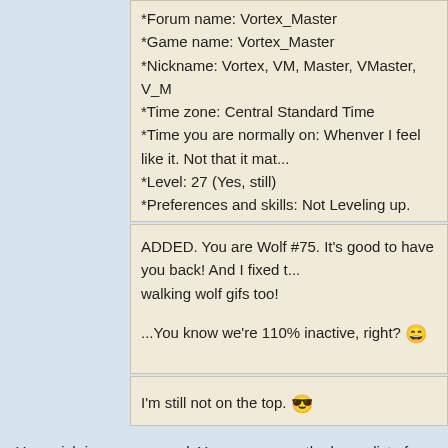*Forum name: Vortex_Master
*Game name: Vortex_Master
*Nickname: Vortex, VM, Master, VMaster, V_M
*Time zone: Central Standard Time
*Time you are normally on: Whenver I feel like it. Not that it mat...
*Level: 27 (Yes, still)
*Preferences and skills: Not Leveling up.
I've been meaning to do this. Especially since the bad news. 😄
ADDED. You are Wolf #75. It's good to have you back! And I fixed t... walking wolf gifs too!
...You know we're 110% inactive, right? 😄
I'm still not on the top. 😎
Your wish is my command. You are now on the honor list of a dead clan.
I'm sorry we never got to be wolves together properly.
~ Wolf